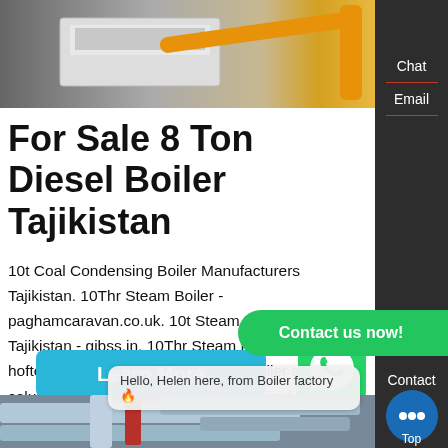[Figure (photo): Photo of industrial boiler equipment with orange pipes on grey background]
For Sale 8 Ton Diesel Boiler Tajikistan
10t Coal Condensing Boiler Manufacturers Tajikistan. 10Thr Steam Boiler - paghamcaravan.co.uk. 10t Steam Boiler Cheap Tajikistan - gibss.in. 10Thr Steam Boiler - fewo-am-hofteich.de. 14th oil fired hot water boiler ship to columbia. the fuel is coal oil and gas fired boiler sold to chile. the fuel is biomass oil fired hot water boiler sold to. the capacity is 21 tons biomass boiler sold to
[Figure (photo): Industrial boiler room with insulated pipes and red structural elements]
Hello, Helen here, from Boiler factory 🔥